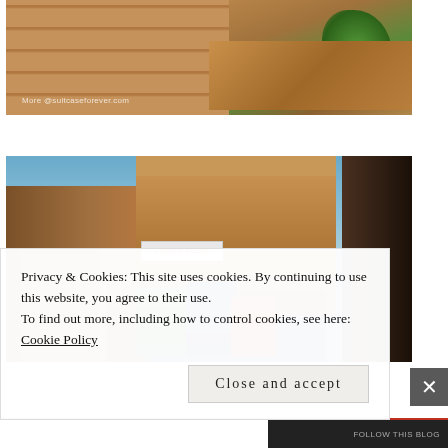[Figure (photo): Close-up of sandy/terracotta stone steps with green plants and scattered stones, with watermark text 'More @suitcaseforever.com']
[Figure (photo): Street scene in an Indian city (likely Jaisalmer) showing golden sandstone fort walls and buildings, a commercial banner sign, colorful fabrics hanging at market stalls, utility wires against a blue sky, and a dark silhouette on the right]
Privacy & Cookies: This site uses cookies. By continuing to use this website, you agree to their use.
To find out more, including how to control cookies, see here:
Cookie Policy
Close and accept